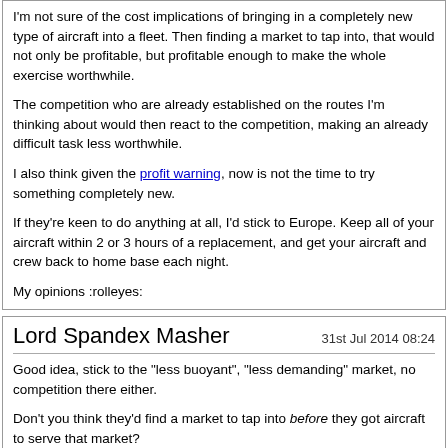I'm not sure of the cost implications of bringing in a completely new type of aircraft into a fleet. Then finding a market to tap into, that would not only be profitable, but profitable enough to make the whole exercise worthwhile.

The competition who are already established on the routes I'm thinking about would then react to the competition, making an already difficult task less worthwhile.

I also think given the profit warning, now is not the time to try something completely new.

If they're keen to do anything at all, I'd stick to Europe. Keep all of your aircraft within 2 or 3 hours of a replacement, and get your aircraft and crew back to home base each night.

My opinions :rolleyes:
Lord Spandex Masher    31st Jul 2014 08:24
Good idea, stick to the "less buoyant", "less demanding" market, no competition there either.

Don't you think they'd find a market to tap into before they got aircraft to serve that market?

Why don't you try thinking about some routes with less, or even no, competition.